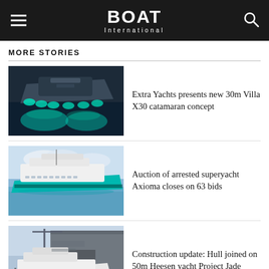BOAT International
MORE STORIES
[Figure (photo): Aerial nighttime photo of Extra Yachts Villa X30 catamaran concept with teal underwater lighting]
Extra Yachts presents new 30m Villa X30 catamaran concept
[Figure (photo): Side view of superyacht Axioma, a large teal-hulled motor yacht at sea]
Auction of arrested superyacht Axioma closes on 63 bids
[Figure (photo): Heesen yacht Project Jade under construction at shipyard, hull joined outside large grey building]
Construction update: Hull joined on 50m Heesen yacht Project Jade